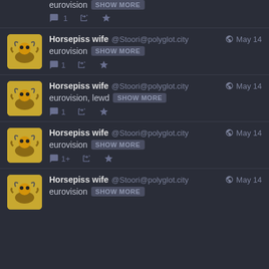[Figure (screenshot): Social media feed showing repeated posts by 'Horsepiss wife @Stoori@polyglot.city' dated May 14, each tagged with 'eurovision' and a SHOW MORE button, with reply/retweet/star action icons]
Horsepiss wife @Stoori@polyglot.city May 14 eurovision SHOW MORE
Horsepiss wife @Stoori@polyglot.city May 14 eurovision SHOW MORE
Horsepiss wife @Stoori@polyglot.city May 14 eurovision, lewd SHOW MORE
Horsepiss wife @Stoori@polyglot.city May 14 eurovision SHOW MORE
Horsepiss wife @Stoori@polyglot.city May 14 eurovision SHOW MORE